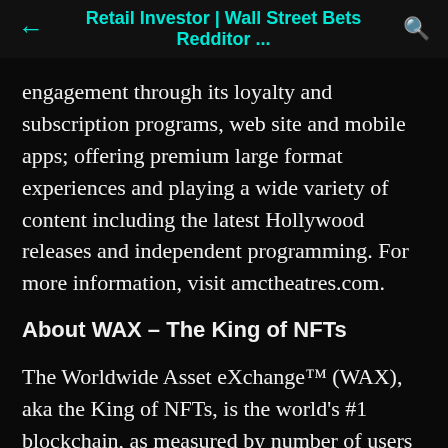Retail Investor | Wall Street Bets Redditor ...
engagement through its loyalty and subscription programs, web site and mobile apps; offering premium large format experiences and playing a wide variety of content including the latest Hollywood releases and independent programming. For more information, visit amctheatres.com.
About WAX – The King of NFTs
The Worldwide Asset eXchange™ (WAX), aka the King of NFTs, is the world's #1 blockchain, as measured by number of users and transactions,